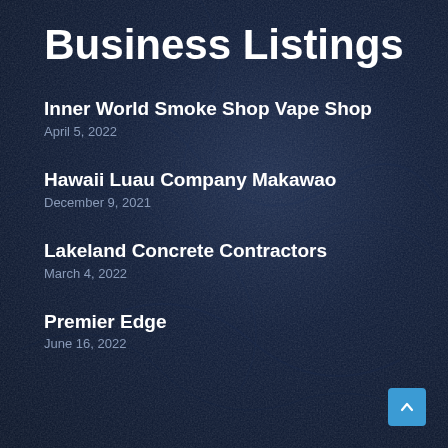Business Listings
Inner World Smoke Shop Vape Shop
April 5, 2022
Hawaii Luau Company Makawao
December 9, 2021
Lakeland Concrete Contractors
March 4, 2022
Premier Edge
June 16, 2022